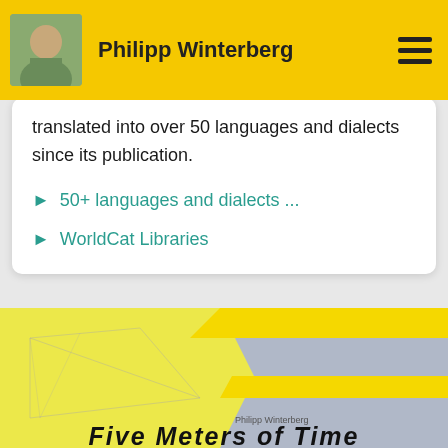Philipp Winterberg
translated into over 50 languages and dialects since its publication.
50+ languages and dialects ...
WorldCat Libraries
[Figure (illustration): Book cover for 'Five Meters of Time' by Philipp Winterberg, showing a yellow background with geometric shapes and the title text at the bottom.]